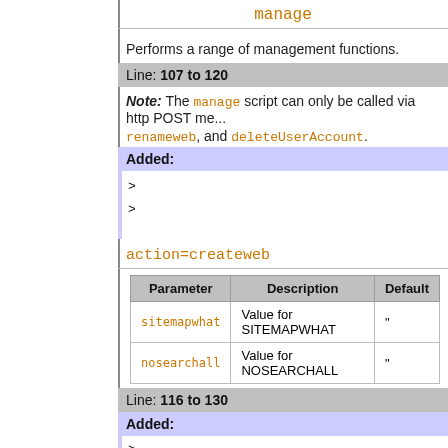manage
Performs a range of management functions.
Line: 107 to 120
Note: The manage script can only be called via http POST me... renameweb, and deleteUserAccount.
Added:
> 
>
action=createweb
| Parameter | Description | Default |
| --- | --- | --- |
| sitemapwhat | Value for SITEMAPWHAT | " |
| nosearchall | Value for NOSEARCHALL | " |
Line: 116 to 130
Added:
>